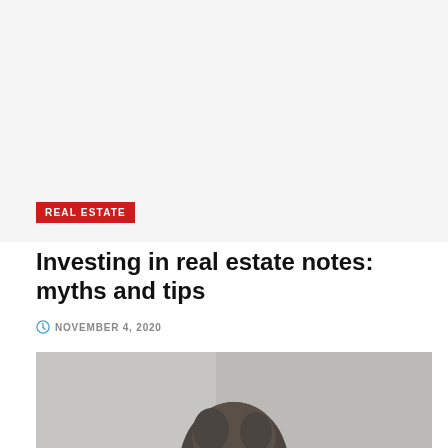[Figure (photo): Large light gray background area representing a hero image placeholder at the top of the article page]
REAL ESTATE
Investing in real estate notes: myths and tips
NOVEMBER 4, 2020
[Figure (photo): Grayscale photograph of a person, partially visible, cropped at the bottom of the page]